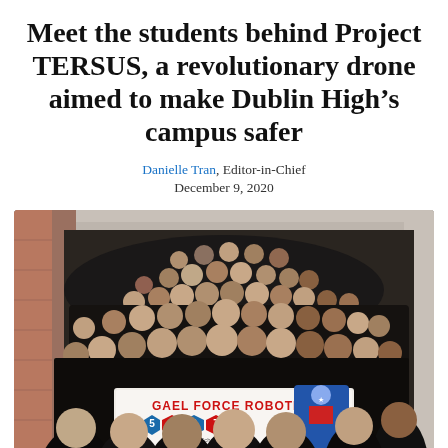Meet the students behind Project TERSUS, a revolutionary drone aimed to make Dublin High's campus safer
Danielle Tran, Editor-in-Chief
December 9, 2020
[Figure (photo): Group photo of Gael Force Robotics Team 5327 students posing on an outdoor staircase, wearing matching dark navy t-shirts. The students are arranged across multiple rows on the stairs. In the front, several students hold a banner reading 'GAEL FORCE ROBOTICS 5327' with a robot mascot graphic. The setting appears to be the Dublin High School campus.]